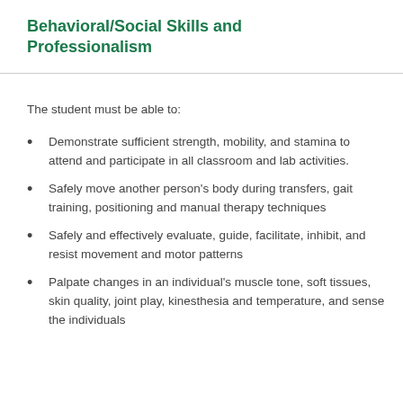Behavioral/Social Skills and Professionalism
The student must be able to:
Demonstrate sufficient strength, mobility, and stamina to attend and participate in all classroom and lab activities.
Safely move another person's body during transfers, gait training, positioning and manual therapy techniques
Safely and effectively evaluate, guide, facilitate, inhibit, and resist movement and motor patterns
Palpate changes in an individual's muscle tone, soft tissues, skin quality, joint play, kinesthesia and temperature, and sense the individuals